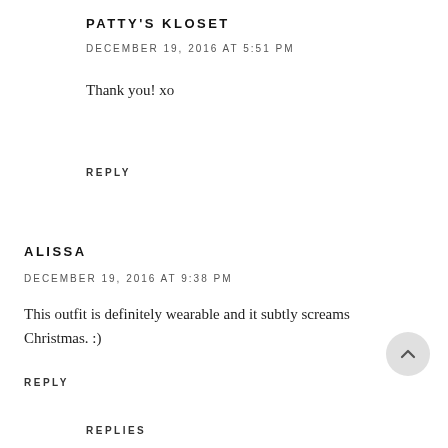PATTY'S KLOSET
DECEMBER 19, 2016 AT 5:51 PM
Thank you! xo
REPLY
ALISSA
DECEMBER 19, 2016 AT 9:38 PM
This outfit is definitely wearable and it subtly screams Christmas. :)
REPLY
REPLIES